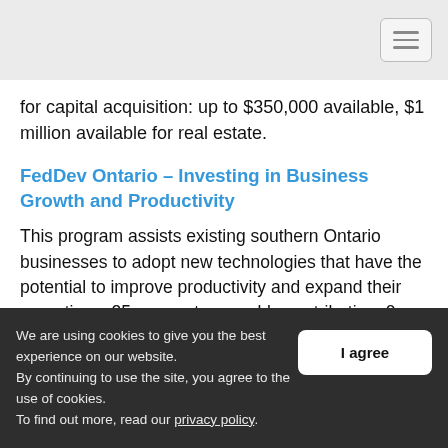Navigation menu header bar
for capital acquisition: up to $350,000 available, $1 million available for real estate.
FedDev Ontario – Investing in Business Growth and Productivity
This program assists existing southern Ontario businesses to adopt new technologies that have the potential to improve productivity and expand their operations: 25 per cent repayable contribution, 0 per cent interest, flexible repayment terms.
We are using cookies to give you the best experience on our website.
By continuing to use the site, you agree to the use of cookies.
To find out more, read our privacy policy.